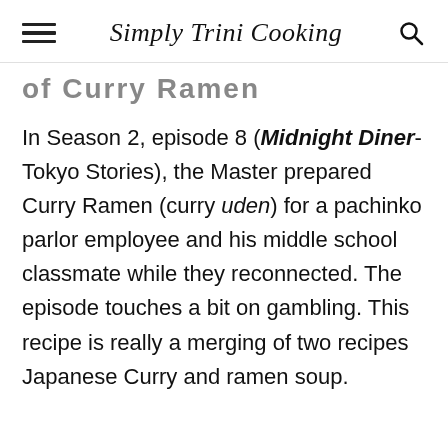Simply Trini Cooking
of Curry Ramen
In Season 2, episode 8 (Midnight Diner- Tokyo Stories), the Master prepared Curry Ramen (curry uden) for a pachinko parlor employee and his middle school classmate while they reconnected. The episode touches a bit on gambling. This recipe is really a merging of two recipes Japanese Curry and ramen soup.